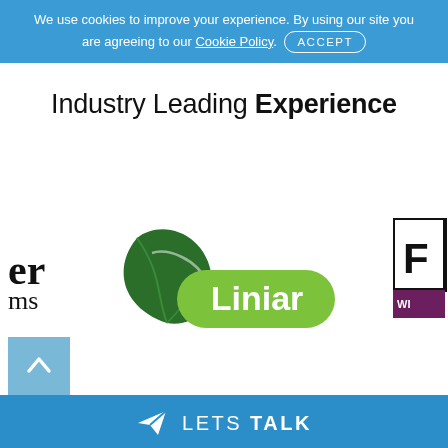We use cookies to improve your experience. By using our site you are agreeing to our Cookie Policy. ACCEPT
Industry Leading Experience
[Figure (logo): Partial logo showing 'er' and 'ms' text on left edge]
[Figure (logo): Liniar logo with green leaf and green pill-shaped background with white 'Liniar' text]
[Figure (logo): Partial logo on right edge showing boxed letter and purple/maroon background]
LETS TALK